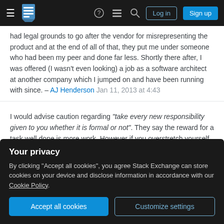Stack Exchange navigation bar with hamburger menu, logo, help icon, chat icon, search icon, Log in button, Sign up button
had legal grounds to go after the vendor for misrepresenting the product and at the end of all of that, they put me under someone who had been my peer and done far less. Shortly there after, I was offered (I wasn't even looking) a job as a software architect at another company which I jumped on and have been running with since. – AJ Henderson Jan 11, 2013 at 4:43
I would advise caution regarding "take every new responsibility given to you whether it is formal or not". They say the reward for a task well done is more work. However if you overstretch yourself, become the go-to guy for every little thing that needs doing, and you end
Your privacy
By clicking "Accept all cookies", you agree Stack Exchange can store cookies on your device and disclose information in accordance with our Cookie Policy.
Accept all cookies
Customize settings
Without the title or authority I wouldn't lead nothing,